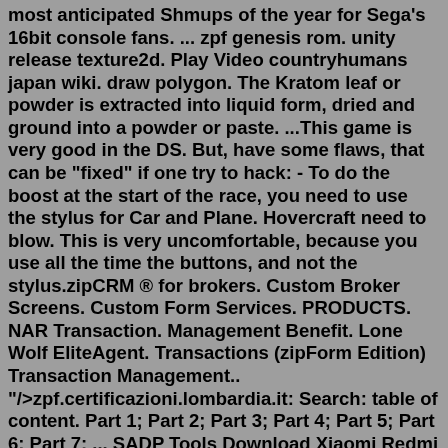most anticipated Shmups of the year for Sega's 16bit console fans. ... zpf genesis rom. unity release texture2d. Play Video countryhumans japan wiki. draw polygon. The Kratom leaf or powder is extracted into liquid form, dried and ground into a powder or paste. ...This game is very good in the DS. But, have some flaws, that can be "fixed" if one try to hack: - To do the boost at the start of the race, you need to use the stylus for Car and Plane. Hovercraft need to blow. This is very uncomfortable, because you use all the time the buttons, and not the stylus.zipCRM ® for brokers. Custom Broker Screens. Custom Form Services. PRODUCTS. NAR Transaction. Management Benefit. Lone Wolf EliteAgent. Transactions (zipForm Edition) Transaction Management.. "/>zpf.certificazioni.lombardia.it: Search: table of content. Part 1; Part 2; Part 3; Part 4; Part 5; Part 6; Part 7; ... SADP Tools Download Xiaomi Redmi K20 Pro/Mi 9T Pro Firmware ROM TWRP Download Xiaomi Redmi K20 Pro/Mi 9T Pro Firmware ROM